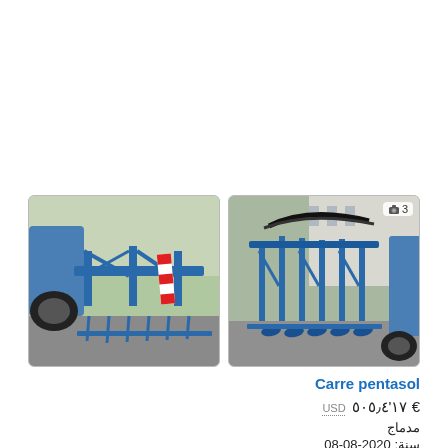[Figure (photo): Blue agricultural cultivator/tillage machine (Carre Pentasol) parked on a wet concrete yard, front view showing blue frame with tines and a red-white warning sign, tractor visible on left]
[Figure (photo): Blue agricultural cultivator/tillage machine (Carre Pentasol) parked on a wet concrete yard, rear/side view showing folded frame with discs and tines, tractor visible on right, image counter badge showing camera icon and '3']
Carre pentasol
USD € ١٧'٥٠٥٫٤
مدماج
سنة: 2020-08-08